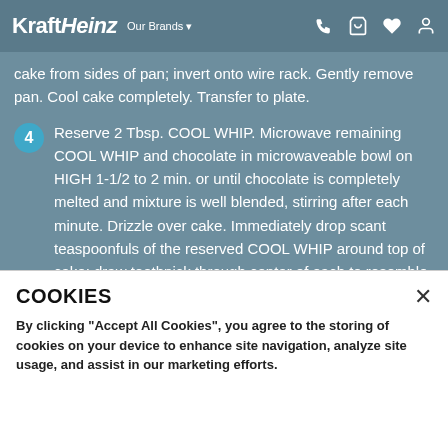KraftHeinz Our Brands
cake from sides of pan; invert onto wire rack. Gently remove pan. Cool cake completely. Transfer to plate.
4 Reserve 2 Tbsp. COOL WHIP. Microwave remaining COOL WHIP and chocolate in microwaveable bowl on HIGH 1-1/2 to 2 min. or until chocolate is completely melted and mixture is well blended, stirring after each minute. Drizzle over cake. Immediately drop scant teaspoonfuls of the reserved COOL WHIP around top of cake; draw toothpick through center of each to resemble star. Fill center of cake with berries.
COOKIES
By clicking “Accept All Cookies”, you agree to the storing of cookies on your device to enhance site navigation, analyze site usage, and assist in our marketing efforts.